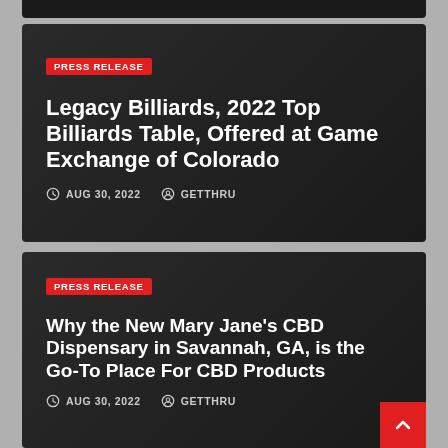[Figure (screenshot): Top black bar (partially cropped card from previous article)]
PRESS RELEASE
Legacy Billiards, 2022 Top Billiards Table, Offered at Game Exchange of Colorado
AUG 30, 2022   GETTHRU
PRESS RELEASE
Why the New Mary Jane's CBD Dispensary in Savannah, GA, is the Go-To Place For CBD Products
AUG 30, 2022   GETTHRU